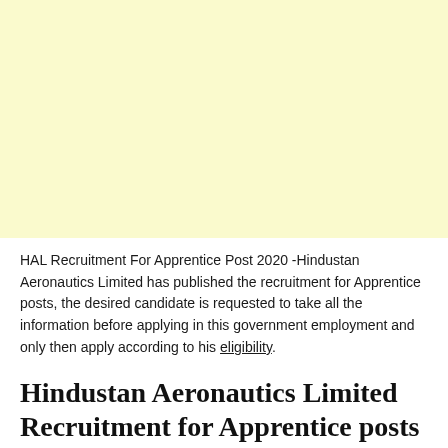[Figure (other): Yellow/cream colored rectangular banner area at the top of the page]
HAL Recruitment For Apprentice Post 2020 -Hindustan Aeronautics Limited has published the recruitment for Apprentice posts, the desired candidate is requested to take all the information before applying in this government employment and only then apply according to his eligibility.
Hindustan Aeronautics Limited Recruitment for Apprentice posts 2020